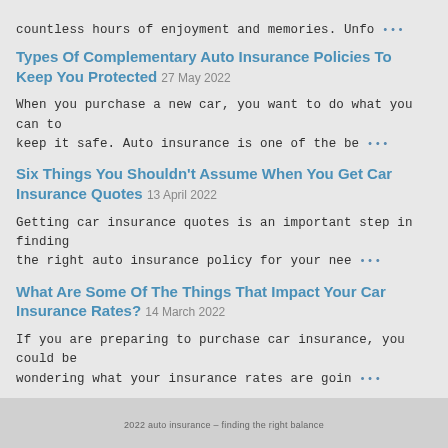countless hours of enjoyment and memories. Unfo …
Types Of Complementary Auto Insurance Policies To Keep You Protected 27 May 2022
When you purchase a new car, you want to do what you can to keep it safe. Auto insurance is one of the be …
Six Things You Shouldn't Assume When You Get Car Insurance Quotes 13 April 2022
Getting car insurance quotes is an important step in finding the right auto insurance policy for your nee …
What Are Some Of The Things That Impact Your Car Insurance Rates? 14 March 2022
If you are preparing to purchase car insurance, you could be wondering what your insurance rates are goin …
2022 auto insurance – finding the right balance